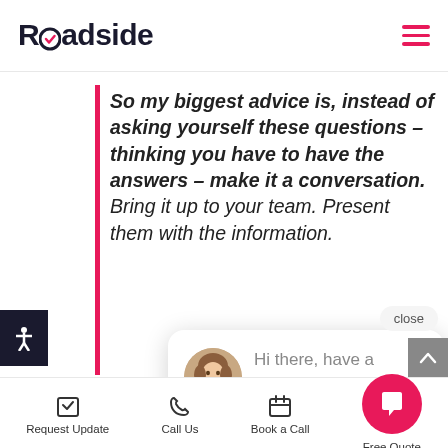Roadside
So my biggest advice is, instead of asking yourself these questions – thinking you have to have the answers – make it a conversation. Bring it up to your team. Present them with the information.
[Figure (screenshot): Chat popup widget with avatar photo of a woman and message: Hi there, have a question about dental marketing, websites, or branding? Text me here. With a close button.]
"Hey guys, I want to focus on X, what do you have? You know, what would be fun? What do you think would be relevant? What do you think you could offer? Hey guys, you think you could do it?"
Request Update  Call Us  Book a Call  Free Quote